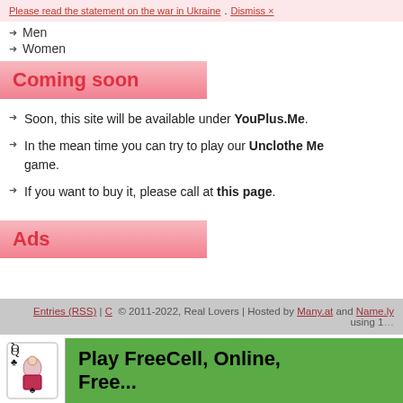Please read the statement on the war in Ukraine. Dismiss ×
Men
Women
Coming soon
Soon, this site will be available under YouPlus.Me.
In the mean time you can try to play our Unclothe Me game.
If you want to buy it, please call at this page.
Ads
Entries (RSS) | © 2011-2022, Real Lovers | Hosted by Many.at and Name.ly using 1…
[Figure (other): Green advertisement banner: Play FreeCell, Online, Free... with queen of clubs playing card icon]